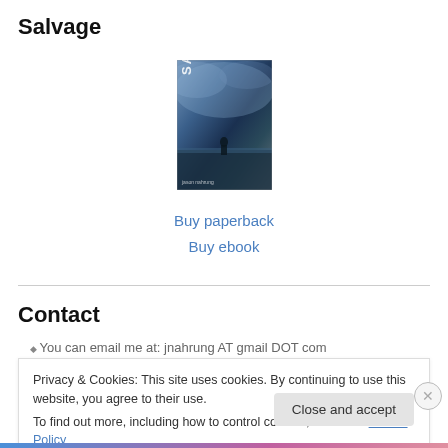Salvage
[Figure (illustration): Book cover for 'Salvage' showing a dramatic stormy scene with dark blue-grey tones and a figure silhouette]
Buy paperback
Buy ebook
Contact
You can email me at: jnahrung AT gmail DOT com
Privacy & Cookies: This site uses cookies. By continuing to use this website, you agree to their use.
To find out more, including how to control cookies, see here: Cookie Policy
Close and accept